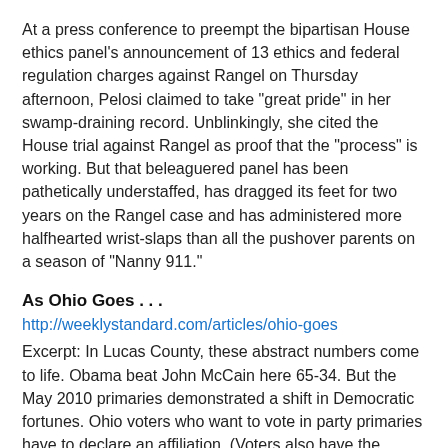At a press conference to preempt the bipartisan House ethics panel's announcement of 13 ethics and federal regulation charges against Rangel on Thursday afternoon, Pelosi claimed to take "great pride" in her swamp-draining record. Unblinkingly, she cited the House trial against Rangel as proof that the "process" is working. But that beleaguered panel has been pathetically understaffed, has dragged its feet for two years on the Rangel case and has administered more halfhearted wrist-slaps than all the pushover parents on a season of "Nanny 911."
As Ohio Goes . . .
http://weeklystandard.com/articles/ohio-goes
Excerpt: In Lucas County, these abstract numbers come to life. Obama beat John McCain here 65-34. But the May 2010 primaries demonstrated a shift in Democratic fortunes. Ohio voters who want to vote in party primaries have to declare an affiliation. (Voters also have the option of choosing an “issues only” ballot. Those who do so do not have to pick a party.) On primary day this spring, May 4, Republicans had a 10-to-1 advantage in crossovers. Some 392 voters switched their registration from Republican to Democrat, but 3,743